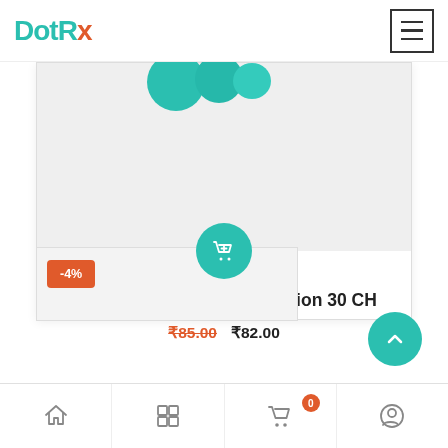[Figure (logo): DotRx logo with teal 'Dot' and 'R' and orange 'x']
[Figure (screenshot): Hamburger menu icon in a square border]
[Figure (photo): Product card showing teal pills/capsules on light gray background with teal add-to-cart button]
Bjain Raphanus Sativus Dilution 30 CH
₹85.00 ₹82.00
-4%
[Figure (illustration): Scroll to top chevron button in teal circle]
[Figure (illustration): Bottom navigation bar with home, grid, cart (badge: 0), and profile icons]